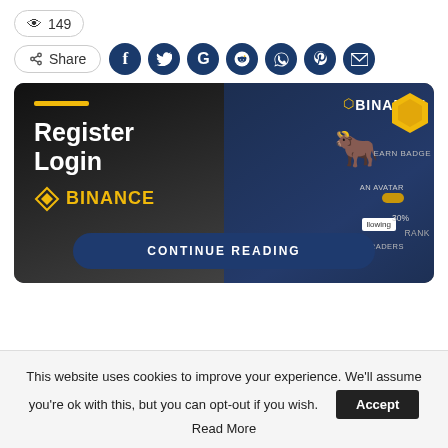149
Share
[Figure (screenshot): Binance promotional banner showing 'Register Login' text with Binance logo and a dark background with a gold bull icon and hexagon, plus a 'CONTINUE READING' button]
This website uses cookies to improve your experience. We'll assume you're ok with this, but you can opt-out if you wish. Accept Read More